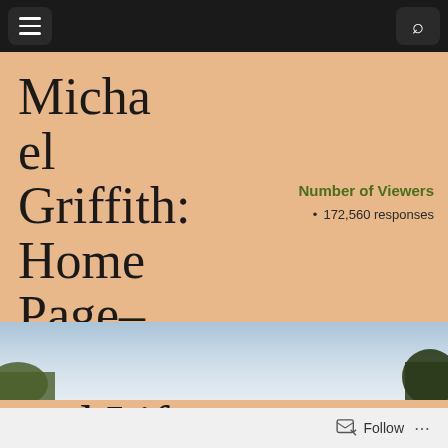Michael Griffith: Home Page- Literature and Life Autumn 2022
Michael Griffith's Official Literature Site
Number of Viewers
172,560 responses
[Figure (photo): Sky and trees landscape banner image at the bottom of the page]
Follow ...